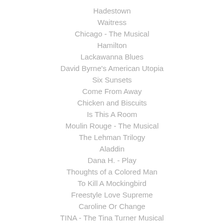Hadestown
Waitress
Chicago - The Musical
Hamilton
Lackawanna Blues
David Byrne's American Utopia
Six Sunsets
Come From Away
Chicken and Biscuits
Is This A Room
Moulin Rouge - The Musical
The Lehman Trilogy
Aladdin
Dana H. - Play
Thoughts of a Colored Man
To Kill A Mockingbird
Freestyle Love Supreme
Caroline Or Change
TINA - The Tina Turner Musical